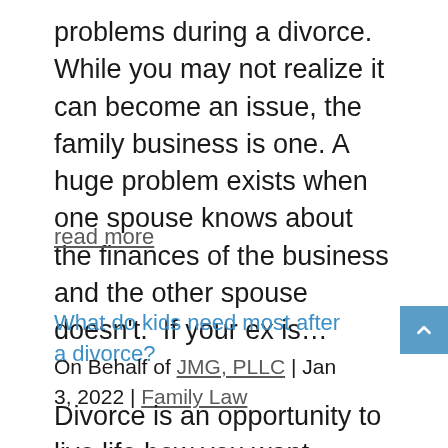problems during a divorce. While you may not realize it can become an issue, the family business is one. A huge problem exists when one spouse knows about the finances of the business and the other spouse doesn't.  If your ex is…
read more
What do kids need most after a divorce?
On Behalf of JMG, PLLC | Jan 3, 2022 | Family Law
Divorce is an opportunity to live life how you want without consulting or considering your spouse. Yet, if you are a parent, you still need